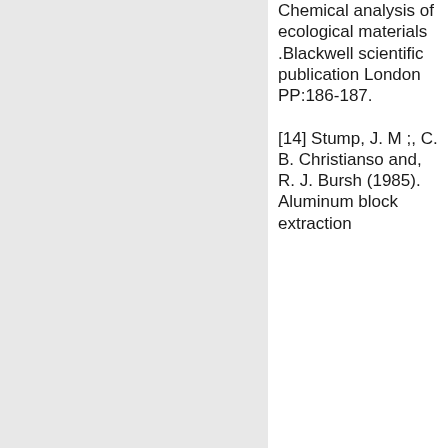Chemical analysis of ecological materials .Blackwell scientific publication London PP:186-187. [14] Stump, J. M ;, C. B. Christianso and, R. J. Bursh (1985). Aluminum block extraction